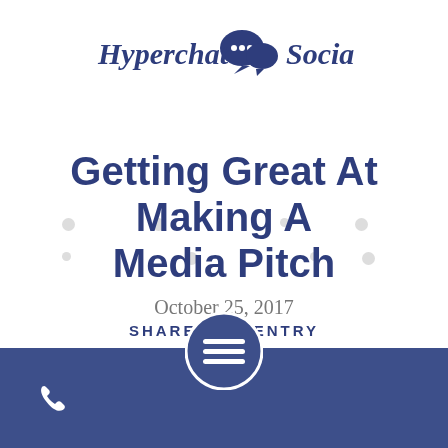[Figure (logo): Hyperchat Social logo with speech bubble icon and cursive/script text]
Getting Great At Making A Media Pitch
October 25, 2017
SHARE THIS ENTRY
[Figure (other): Hamburger menu button circle with three horizontal lines]
[Figure (other): Phone icon in footer bar]